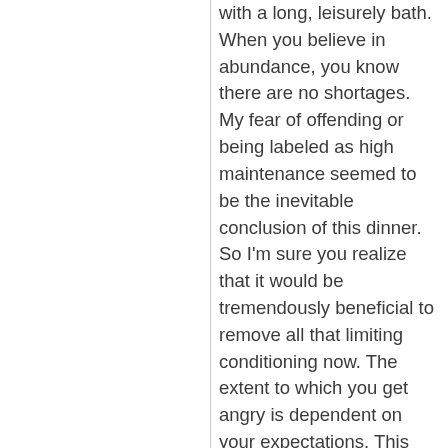with a long, leisurely bath. When you believe in abundance, you know there are no shortages. My fear of offending or being labeled as high maintenance seemed to be the inevitable conclusion of this dinner. So I'm sure you realize that it would be tremendously beneficial to remove all that limiting conditioning now. The extent to which you get angry is dependent on your expectations. This site: Reliable Business is full of sassy and actionable advice for anyone wanting to build a business, focus, and overcome their limiting beliefs.

And this will help you make the fundamental shift in your relationship with your thoughts that lies at the...